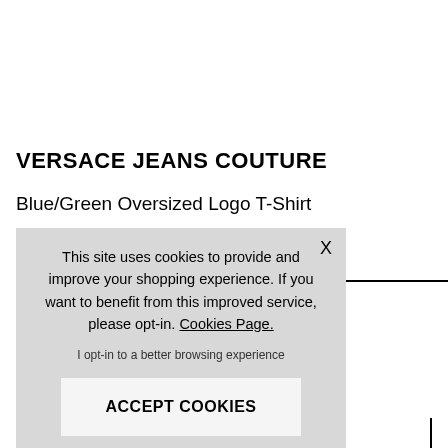VERSACE JEANS COUTURE
Blue/Green Oversized Logo T-Shirt
NOW £85.00
This site uses cookies to provide and improve your shopping experience. If you want to benefit from this improved service, please opt-in. Cookies Page.

I opt-in to a better browsing experience

ACCEPT COOKIES